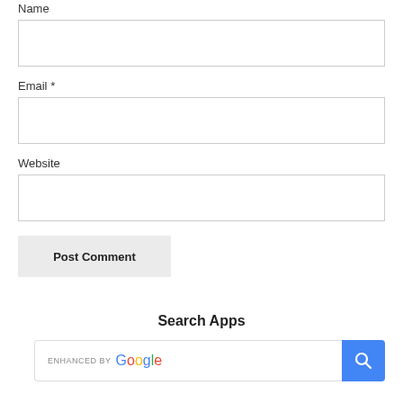Name
Email *
Website
Post Comment
Search Apps
[Figure (screenshot): Google search bar with 'ENHANCED BY Google' text and blue search button with magnifying glass icon]